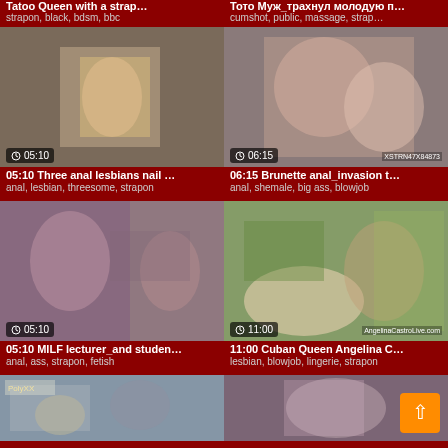Tatoo Queen with a strap... | strapon, black, bdsm, bbc
Тото Муж_трахнул молодую п... | cumshot, public, massage, strap...
[Figure (photo): Video thumbnail showing close-up with duration 05:10]
05:10 Three anal lesbians nail ... | anal, lesbian, threesome, strapon
[Figure (photo): Video thumbnail showing two women with duration 06:15]
06:15 Brunette anal_invasion t... | anal, shemale, big ass, blowjob
[Figure (photo): Video thumbnail showing MILF scene with duration 05:10]
05:10 MILF lecturer_and studen... | anal, ass, strapon, fetish
[Figure (photo): Video thumbnail outdoor scene with duration 11:00]
11:00 Cuban Queen Angelina C... | lesbian, blowjob, lingerie, strapon
[Figure (photo): Video thumbnail outdoor construction scene (partial)]
[Figure (photo): Video thumbnail purple hair woman (partial)]